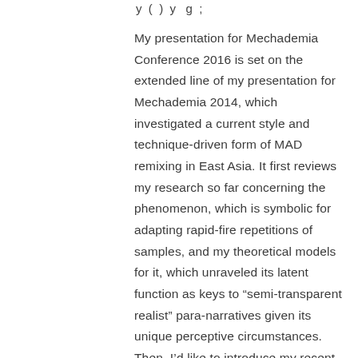y ( ) y g ;
My presentation for Mechademia Conference 2016 is set on the extended line of my presentation for Mechademia 2014, which investigated a current style and technique-driven form of MAD remixing in East Asia. It first reviews my research so far concerning the phenomenon, which is symbolic for adapting rapid-fire repetitions of samples, and my theoretical models for it, which unraveled its latent function as keys to “semi-transparent realist” para-narratives given its unique perceptive circumstances. Then, I’d like to introduce my recent findings on such phenomenon. Fact-wise, recent “kichiku videos” (the works in such style) exhibit a strong tendency to establish the